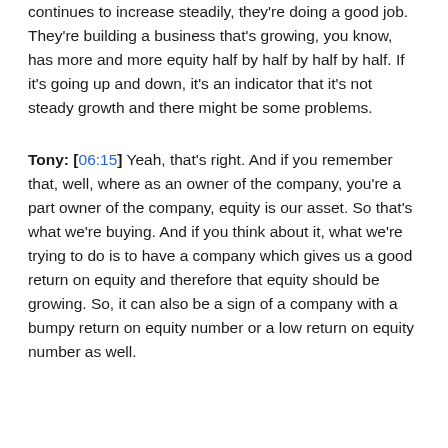continues to increase steadily, they're doing a good job. They're building a business that's growing, you know, has more and more equity half by half by half by half. If it's going up and down, it's an indicator that it's not steady growth and there might be some problems.
Tony: [06:15] Yeah, that's right. And if you remember that, well, where as an owner of the company, you're a part owner of the company, equity is our asset. So that's what we're buying. And if you think about it, what we're trying to do is to have a company which gives us a good return on equity and therefore that equity should be growing. So, it can also be a sign of a company with a bumpy return on equity number or a low return on equity number as well.